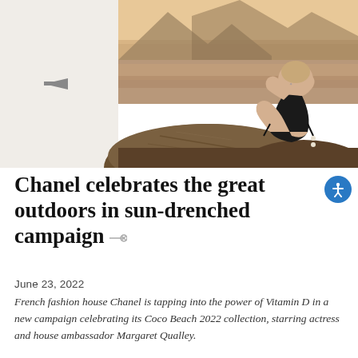[Figure (photo): Fashion campaign photo showing a woman in a black swimsuit sitting on rocks by the sea, with mountains in the background. Warm sepia tones. Navigation back arrow visible on the left side.]
Chanel celebrates the great outdoors in sun-drenched campaign
June 23, 2022
French fashion house Chanel is tapping into the power of Vitamin D in a new campaign celebrating its Coco Beach 2022 collection, starring actress and house ambassador Margaret Qualley.